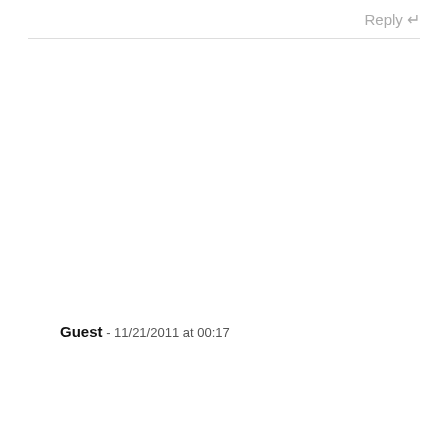Reply ↲
Guest - 11/21/2011 at 00:17